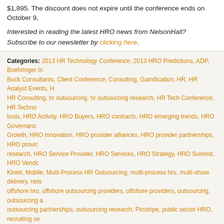$1,895. The discount does not expire until the conference ends on October 9,
Interested in reading the latest HRO news from NelsonHall? Subscribe to our newsletter by clicking here.
Categories: 2013 HR Technology Conference, 2013 HRO Predictions, ADP, Boehringer Ingelheim, Buck Consultants, Client Conference, Consulting, Gamification, HR, HR Analyst Events, HR Consulting, hr outsourcing, hr outsourcing research, HR Tech Conference, HR Technology tools, HRO Activity, HRO Buyers, HRO contracts, HRO emerging trends, HRO Governance, HRO Growth, HRO Innovation, HRO provider alliances, HRO provider partnerships, HRO provider research, HRO Service Provider, HRO Services, HRO Strategy, HRO Summit, HRO Vendors, Kineti, Mobile, Multi-Process HR Outsourcing, multi-process hro, multi-shore delivery, nelson, offshore hro, offshore outsourcing providers, offshore providers, outsourcing, outsourcing a, outsourcing partnerships, outsourcing research, Pinstripe, public sector HRO, recruiting se, Recruiting Technology, recruitment process outsourcing, rpo, rpo contracts, RPO Offerings, providers, rpo research, RPO Summit, Sachs & Co, Service Delivery, Social, Talent Management, Talent2, Value of HRO
Tags: Barry Hall, Boehringer Ingelheim, Buck Consultants, Business, CHRO-TV, Expert Discussions & HR Tech Talks, HCM and Workforce Management, human resources, Kris D, Las Vegas, recruiting, recruitment process outsourcing, Social in the Enterprise, Workforce Analytics and Planning
Comments: 1 Comment
NGA's Broadening Offerings
July 24, 2013
Last week we attended the Advisor & Analyst Summit with NGA where CEO Adel Al-Saleh presented the highlights for FY2013 (up to 30 April 2013) and